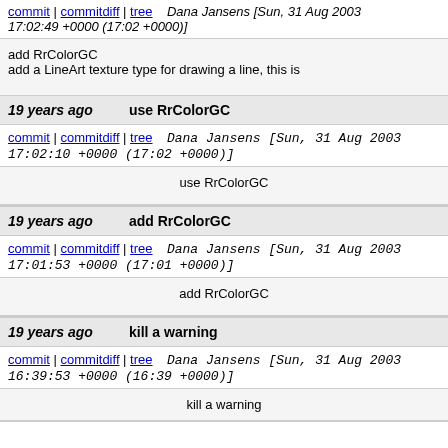commit | commitdiff | tree   Dana Jansens [Sun, 31 Aug 2003 17:02:49 +0000 (17:02 +0000)]
add RrColorGC
add a LineArt texture type for drawing a line, this is
19 years ago    use RrColorGC
commit | commitdiff | tree   Dana Jansens [Sun, 31 Aug 2003 17:02:10 +0000 (17:02 +0000)]
use RrColorGC
19 years ago    add RrColorGC
commit | commitdiff | tree   Dana Jansens [Sun, 31 Aug 2003 17:01:53 +0000 (17:01 +0000)]
add RrColorGC
19 years ago    kill a warning
commit | commitdiff | tree   Dana Jansens [Sun, 31 Aug 2003 16:39:53 +0000 (16:39 +0000)]
kill a warning